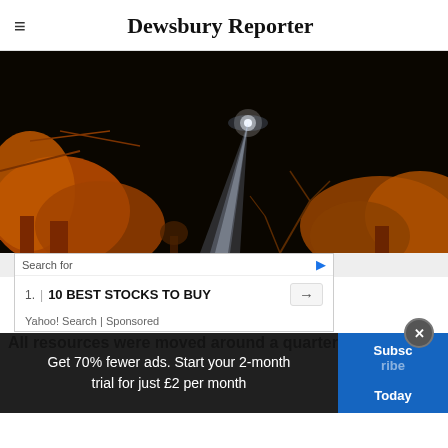Dewsbury Reporter
[Figure (photo): Night photograph of trees illuminated in orange light against a dark sky, with a bright spotlight or searchlight beam visible cutting diagonally across the frame.]
Police h...es
Search for
1. | 10 BEST STOCKS TO BUY
Yahoo! Search | Sponsored
All resources were moved around a quarter of
Get 70% fewer ads. Start your 2-month trial for just £2 per month
Subscribe Today